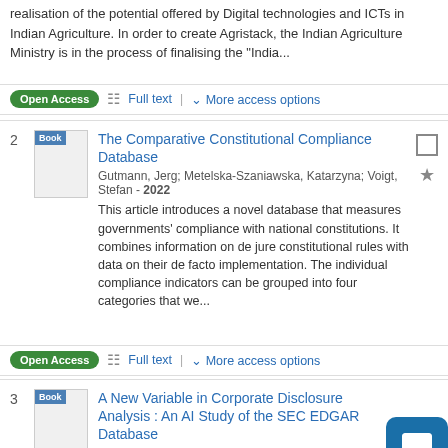realisation of the potential offered by Digital technologies and ICTs in Indian Agriculture. In order to create Agristack, the Indian Agriculture Ministry is in the process of finalising the "India...
Open Access  Full text  |  ∨ More access options
2  Book  The Comparative Constitutional Compliance Database  Gutmann, Jerg; Metelska-Szaniawska, Katarzyna; Voigt, Stefan - 2022  This article introduces a novel database that measures governments' compliance with national constitutions. It combines information on de jure constitutional rules with data on their de facto implementation. The individual compliance indicators can be grouped into four categories that we...
Open Access  Full text  |  ∨ More access options
3  Book  A New Variable in Corporate Disclosure Analysis : An AI Study of the SEC EDGAR Database  Aldridge, Irene; Li, Bojun - 2022